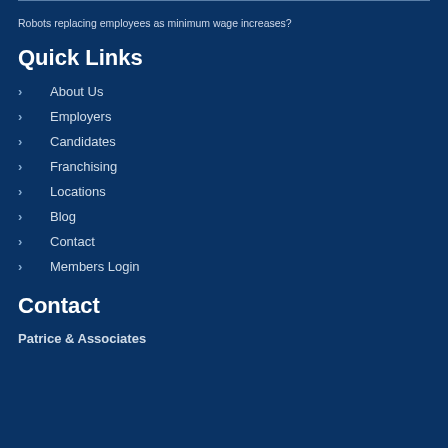Robots replacing employees as minimum wage increases?
Quick Links
About Us
Employers
Candidates
Franchising
Locations
Blog
Contact
Members Login
Contact
Patrice & Associates